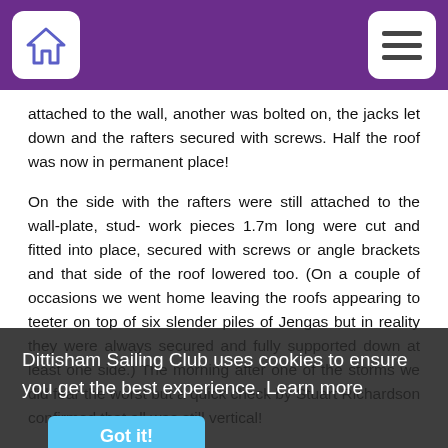Dittisham Sailing Club navigation bar with home icon and menu icon
attached to the wall, another was bolted on, the jacks let down and the rafters secured with screws. Half the roof was now in permanent place!
On the side with the rafters were still attached to the wall-plate, stud- work pieces 1.7m long were cut and fitted into place, secured with screws or angle brackets and that side of the roof lowered too. (On a couple of occasions we went home leaving the roofs appearing to teeter on top of six slender piles of Jengas but in reality they were always secured and fully supported down at least one side.) The morning after one of the storms we did fear the worst but a quick check by Stuart Richardson confirmed that all was still vertical!
...instead of making and fixing the horizontal beams that will support the newly extended balcony (now some 13m long) and covering the stud-work with so-called free-ply (ply donated by Royal Torbay YC). That in turn was covered with the sort of roofing felt that bats like (as insisted on by the ecology report) and then the battens were added to await the attention, in due course, of the
Dittisham Sailing Club uses cookies to ensure you get the best experience.  Learn more
Got it!